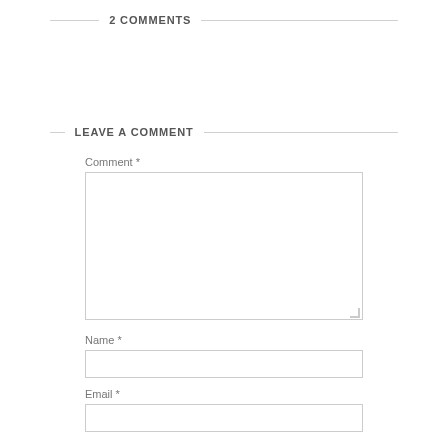2 COMMENTS
LEAVE A COMMENT
Comment *
Name *
Email *